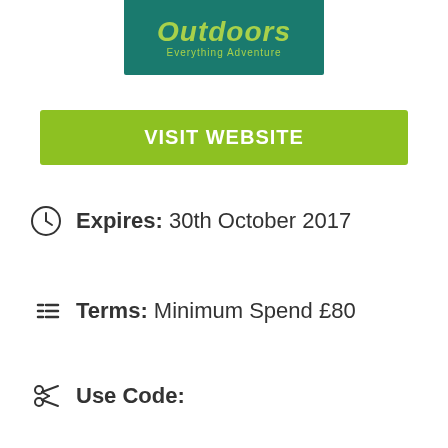[Figure (logo): Outdoors Everything Adventure logo on teal/dark green background]
VISIT WEBSITE
Expires: 30th October 2017
Terms: Minimum Spend £80
Use Code: